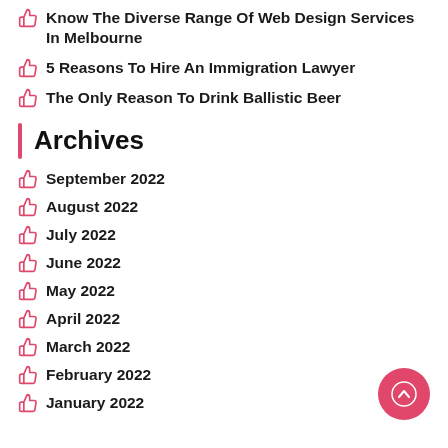Know The Diverse Range Of Web Design Services In Melbourne
5 Reasons To Hire An Immigration Lawyer
The Only Reason To Drink Ballistic Beer
Archives
September 2022
August 2022
July 2022
June 2022
May 2022
April 2022
March 2022
February 2022
January 2022